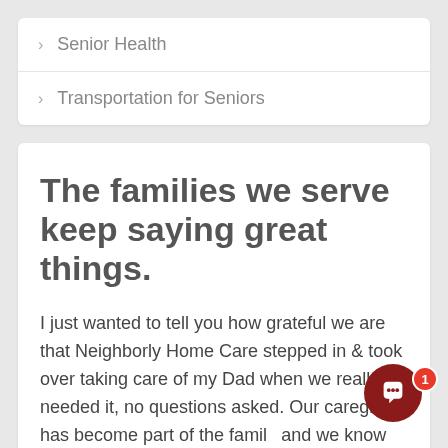Senior Health
Transportation for Seniors
The families we serve keep saying great things.
I just wanted to tell you how grateful we are that Neighborly Home Care stepped in & took over taking care of my Dad when we really needed it, no questions asked. Our caregiver has become part of the family and we know we can depend on her being there every day & taking great care of my